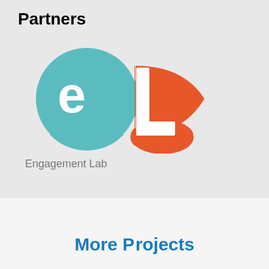Partners
[Figure (logo): Engagement Lab logo: a teal circle with white lowercase letter 'e' overlapping with an orange shape resembling a capital letter 'L' or 'D']
Engagement Lab
More Projects